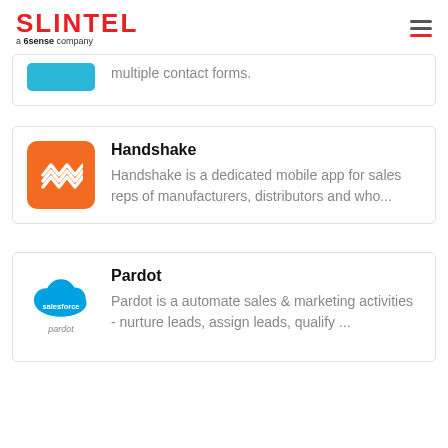SLINTEL a 6sense company
multiple contact forms.
Handshake
Handshake is a dedicated mobile app for sales reps of manufacturers, distributors and who...
Pardot
Pardot is a automate sales & marketing activities - nurture leads, assign leads, qualify ...